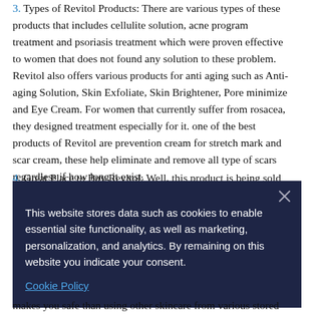3. Types of Revitol Products: There are various types of these products that includes cellulite solution, acne program treatment and psoriasis treatment which were proven effective to women that does not found any solution to these problem. Revitol also offers various products for anti aging such as Anti-aging Solution, Skin Exfoliate, Skin Brightener, Pore minimize and Eye Cream. For women that currently suffer from rosacea, they designed treatment especially for it. one of the best products of Revitol are prevention cream for stretch mark and scar cream, these help eliminate and remove all type of scars regardless if how long it exist.
4. Great Place to Buy Revitol: Well, this product is being sold in...
This website stores data such as cookies to enable essential site functionality, as well as marketing, personalization, and analytics. By remaining on this website you indicate your consent.
Cookie Policy
makes you safe than using other skincare from various stored